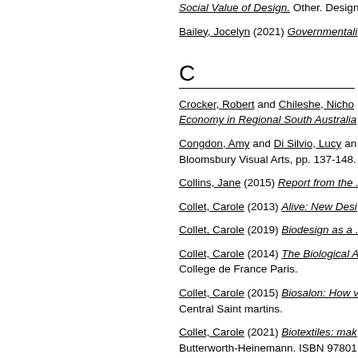Social Value of Design. Other. Design
Bailey, Jocelyn (2021) Governmentali...
C
Crocker, Robert and Chileshe, Nicho... Economy in Regional South Australia...
Congdon, Amy and Di Silvio, Lucy an... Bloomsbury Visual Arts, pp. 137-148.
Collins, Jane (2015) Report from the ...
Collet, Carole (2013) Alive: New Desi...
Collet, Carole (2019) Biodesign as a ...
Collet, Carole (2014) The Biological A... College de France Paris.
Collet, Carole (2015) Biosalon: How v... Central Saint martins.
Collet, Carole (2021) Biotextiles: mak... Butterworth-Heinemann. ISBN 97801...
Collet, Carole (2017) Botanical Manu...
Collet, Carole (2017) Co-Designing w...